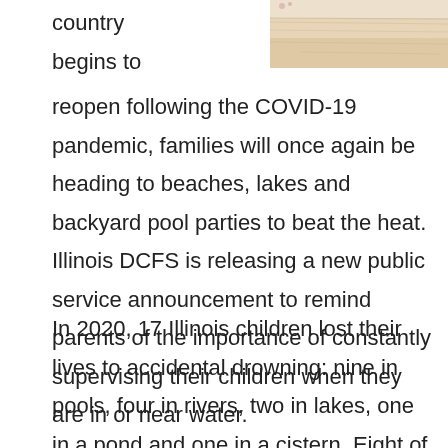[Figure (photo): A beach or sandy waterfront scene with a light pinkish/beige tone, showing what appears to be a sandy shoreline with water in the background.]
country begins to reopen following the COVID-19 pandemic, families will once again be heading to beaches, lakes and backyard pool parties to beat the heat. Illinois DCFS is releasing a new public service announcement to remind parents of the importance of constantly supervising their children when they are in or near water.
In 2020, 17 Illinois children lost their lives to accidental drowning: nine in pools, four in rivers, two in lakes, one in a pond and one in a cistern. Eight of